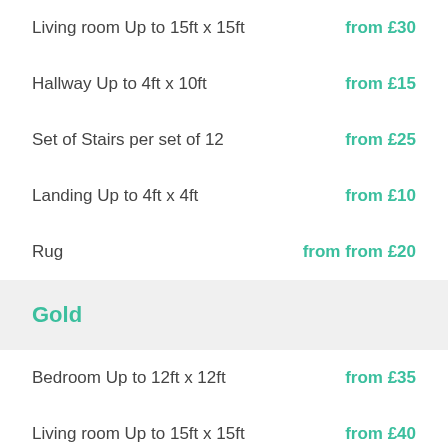Living room Up to 15ft x 15ft   from £30
Hallway Up to 4ft x 10ft   from £15
Set of Stairs per set of 12   from £25
Landing Up to 4ft x 4ft   from £10
Rug   from from £20
Gold
Bedroom Up to 12ft x 12ft   from £35
Living room Up to 15ft x 15ft   from £40
Hallway Up to 4ft x 10ft   from £25